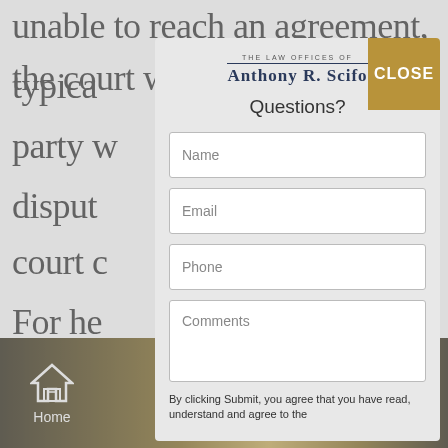unable to reach an agreement, the court will typically… d party w… their disput… the court c…
For he… se matters… yer Near N…
[Figure (screenshot): Modal dialog overlay for The Law Offices of Anthony R. Scifo with a contact form containing Name, Email, Phone, and Comments fields, a CLOSE button, and a logo at the top.]
By clicking Submit, you agree that you have read, understand and agree to the
Home   Menu